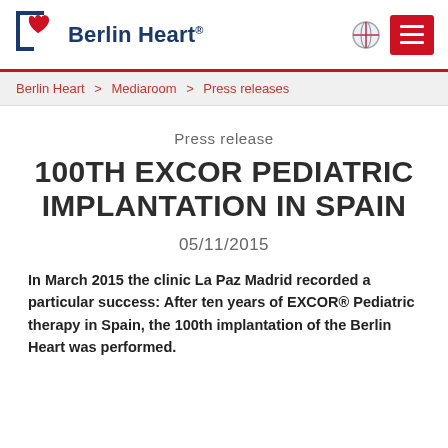Berlin Heart
Berlin Heart > Mediaroom > Press releases
Press release
100TH EXCOR PEDIATRIC IMPLANTATION IN SPAIN
05/11/2015
In March 2015 the clinic La Paz Madrid recorded a particular success: After ten years of EXCOR® Pediatric therapy in Spain, the 100th implantation of the Berlin Heart was performed.